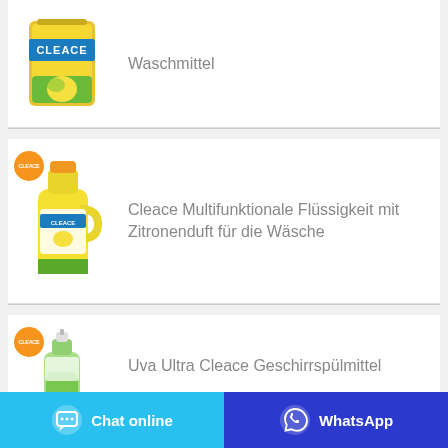[Figure (photo): Cleace lemon-scented laundry powder product image with orange Cleace badge]
Waschmittel
[Figure (photo): Cleace multifunctional lemon-scented liquid laundry detergent bottle with orange Cleace badge]
Cleace Multifunktionale Flüssigkeit mit Zitronenduft für die Wäsche
[Figure (photo): Uva Ultra Cleace dish soap bottle with orange Cleace badge]
Uva Ultra Cleace Geschirrspülmittel